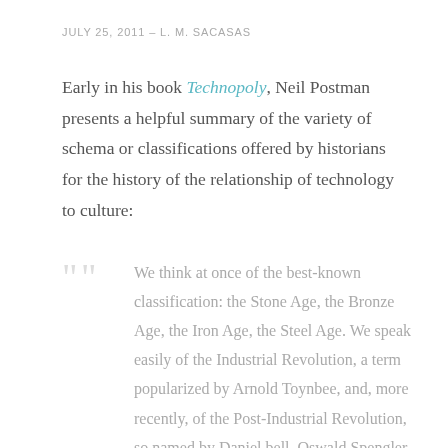JULY 25, 2011  –  L. M. SACASAS
Early in his book Technopoly, Neil Postman presents a helpful summary of the variety of schema or classifications offered by historians for the history of the relationship of technology to culture:
We think at once of the best-known classification: the Stone Age, the Bronze Age, the Iron Age, the Steel Age.  We speak easily of the Industrial Revolution, a term popularized by Arnold Toynbee, and, more recently, of the Post-Industrial Revolution, so named by Daniel bell.  Oswald Spengler wrote of the Age of Machine Technics, and C. S. Peirce called the nineteenth century the Railway Age.  Lewis Mumford, looking at matters from a longer perspective…